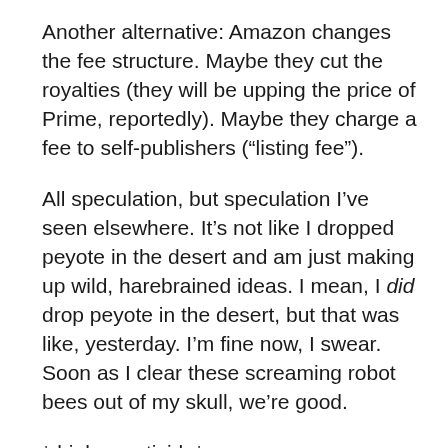Another alternative: Amazon changes the fee structure. Maybe they cut the royalties (they will be upping the price of Prime, reportedly). Maybe they charge a fee to self-publishers (“listing fee”).
All speculation, but speculation I’ve seen elsewhere. It’s not like I dropped peyote in the desert and am just making up wild, harebrained ideas. I mean, I did drop peyote in the desert, but that was like, yesterday. I’m fine now, I swear. Soon as I clear these screaming robot bees out of my skull, we’re good.
*drinks pesticide*
What The Hell G